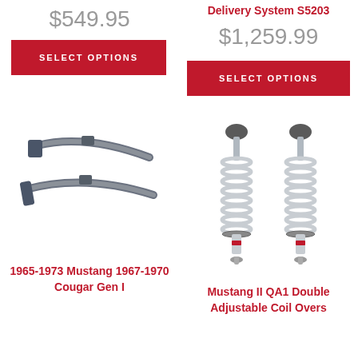$549.95
Delivery System S5203
$1,259.99
SELECT OPTIONS
SELECT OPTIONS
[Figure (photo): Gray steel leaf spring bars for classic Mustang/Cougar suspension]
[Figure (photo): Pair of Mustang II QA1 double adjustable coilover shocks with silver coil springs]
1965-1973 Mustang 1967-1970 Cougar Gen I
Mustang II QA1 Double Adjustable Coil Overs